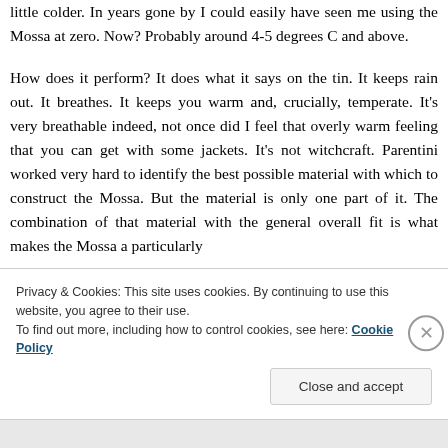little colder. In years gone by I could easily have seen me using the Mossa at zero. Now? Probably around 4-5 degrees C and above.
How does it perform? It does what it says on the tin. It keeps rain out. It breathes. It keeps you warm and, crucially, temperate. It's very breathable indeed, not once did I feel that overly warm feeling that you can get with some jackets. It's not witchcraft. Parentini worked very hard to identify the best possible material with which to construct the Mossa. But the material is only one part of it. The combination of that material with the general overall fit is what makes the Mossa a particularly
Privacy & Cookies: This site uses cookies. By continuing to use this website, you agree to their use.
To find out more, including how to control cookies, see here: Cookie Policy
Close and accept